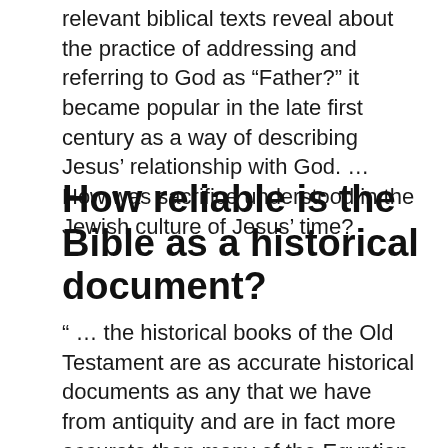relevant biblical texts reveal about the practice of addressing and referring to God as “Father?” it became popular in the late first century as a way of describing Jesus’ relationship with God. … How was sacrifice understood in the Jewish culture of Jesus’ time?
How reliable is the Bible as a historical document?
“ … the historical books of the Old Testament are as accurate historical documents as any that we have from antiquity and are in fact more accurate than many of the Egyptian, Mesopotamian, or Greek histories. These Biblical records can be and are used as are other ancient documents in archaeological